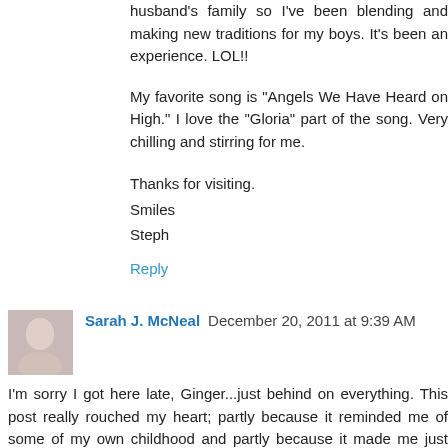husband's family so I've been blending and making new traditions for my boys. It's been an experience. LOL!!
My favorite song is "Angels We Have Heard on High." I love the "Gloria" part of the song. Very chilling and stirring for me.
Thanks for visiting.
Smiles
Steph
Reply
Sarah J. McNeal  December 20, 2011 at 9:39 AM
I'm sorry I got here late, Ginger...just behind on everything. This post really rouched my heart; partly because it reminded me of some of my own childhood and partly because it made me just want to give you a big hug. I love the song I'll Be Home For Christmas, too. It's like a wish for the closeness you wish you had.
Sadly, my parents died before I had a chance to become published but if my mother had asked me to write a stor